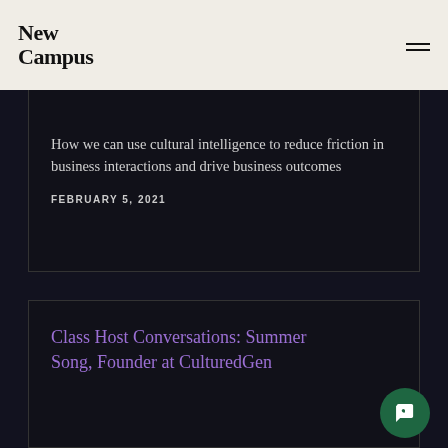New Campus
How we can use cultural intelligence to reduce friction in business interactions and drive business outcomes
FEBRUARY 5, 2021
Class Host Conversations: Summer Song, Founder at CulturedGen